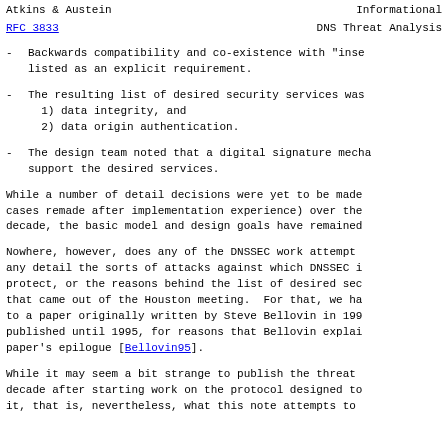Atkins & Austein                                        Informational
RFC 3833                    DNS Threat Analysis
- Backwards compatibility and co-existence with "inse... listed as an explicit requirement.
- The resulting list of desired security services was... 1) data integrity, and 2) data origin authentication.
- The design team noted that a digital signature mecha... support the desired services.
While a number of detail decisions were yet to be made... cases remade after implementation experience) over the... decade, the basic model and design goals have remained...
Nowhere, however, does any of the DNSSEC work attempt... any detail the sorts of attacks against which DNSSEC i... protect, or the reasons behind the list of desired sec... that came out of the Houston meeting. For that, we ha... to a paper originally written by Steve Bellovin in 199... published until 1995, for reasons that Bellovin explai... paper's epilogue [Bellovin95].
While it may seem a bit strange to publish the threat... decade after starting work on the protocol designed to... it, that is, nevertheless, what this note attempts to...